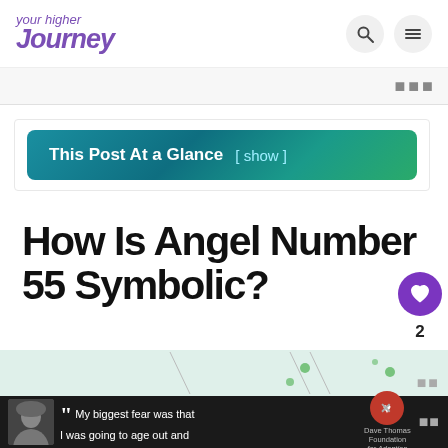your higher Journey
[Figure (screenshot): Table of contents banner button with teal/green gradient background reading 'This Post At a Glance [ show ]']
How Is Angel Number 55 Symbolic?
[Figure (illustration): Partial decorative illustration at bottom with green dots and line elements on light background]
[Figure (infographic): Ad bar at bottom with black background: person wearing beanie hat, quote text 'My biggest fear was that I was going to age out and', Dave Thomas Foundation for Adoption logo, close button]